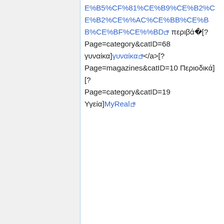E%B5%CF%81%CE%B9%CE%B2%CE%AC%CE%BB%CE%BB%CE%BF%CE%BD περιβά[?Page=category&catID=68 γυναίκα]γυναίκα</a>[?Page=magazines&catID=10 Περιοδικά][?Page=category&catID=19 Υγεία]MyReal